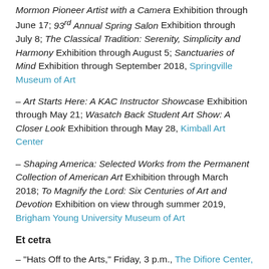Mormon Pioneer Artist with a Camera Exhibition through June 17; 93rd Annual Spring Salon Exhibition through July 8; The Classical Tradition: Serenity, Simplicity and Harmony Exhibition through August 5; Sanctuaries of Mind Exhibition through September 2018, Springville Museum of Art
– Art Starts Here: A KAC Instructor Showcase Exhibition through May 21; Wasatch Back Student Art Show: A Closer Look Exhibition through May 28, Kimball Art Center
– Shaping America: Selected Works from the Permanent Collection of American Art Exhibition through March 2018; To Magnify the Lord: Six Centuries of Art and Devotion Exhibition on view through summer 2019, Brigham Young University Museum of Art
Et cetra
– "Hats Off to the Arts," Friday, 3 p.m., The Difiore Center,